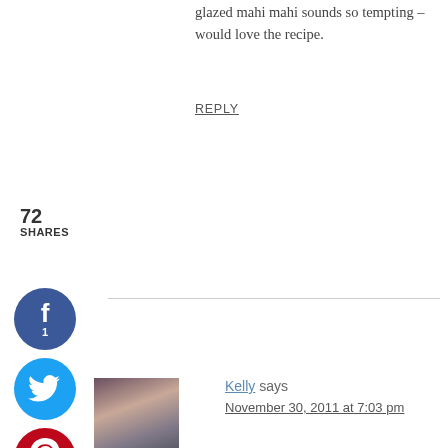glazed mahi mahi sounds so tempting – would love the recipe.
REPLY
72
SHARES
Kelly says
November 30, 2011 at 7:03 pm
Thai inspired spices are so warming and flavourful. Perfect for the chillier weather we're having. The colourful pepper looks wonderful in this dish.
REPLY